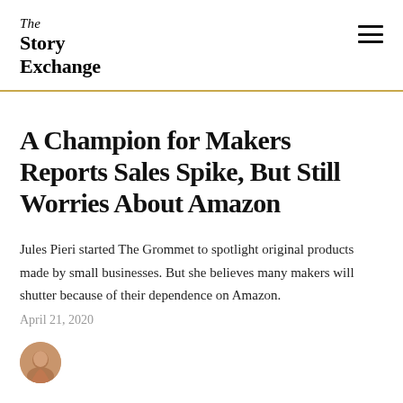The Story Exchange
A Champion for Makers Reports Sales Spike, But Still Worries About Amazon
Jules Pieri started The Grommet to spotlight original products made by small businesses. But she believes many makers will shutter because of their dependence on Amazon.
April 21, 2020
[Figure (photo): Circular author portrait photo, partially visible at bottom of page]